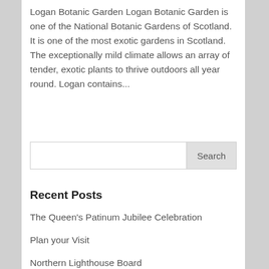Logan Botanic Garden Logan Botanic Garden is one of the National Botanic Gardens of Scotland. It is one of the most exotic gardens in Scotland. The exceptionally mild climate allows an array of tender, exotic plants to thrive outdoors all year round. Logan contains...
Recent Posts
The Queen's Patinum Jubilee Celebration
Plan your Visit
Northern Lighthouse Board
Lighthouse Poem
The Exhibition and Engine Room